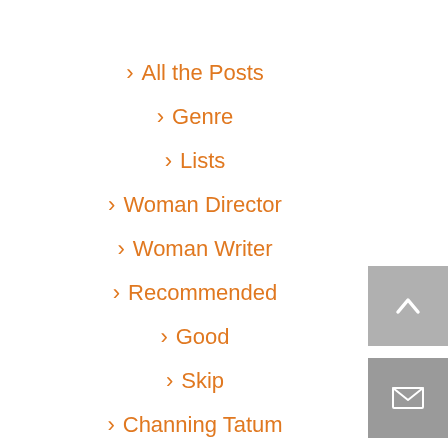> All the Posts
> Genre
> Lists
> Woman Director
> Woman Writer
> Recommended
> Good
> Skip
> Channing Tatum
> Home
[Figure (other): Scroll-to-top button (upward chevron arrow on grey background)]
[Figure (other): Email/contact button (envelope icon on dark grey background)]